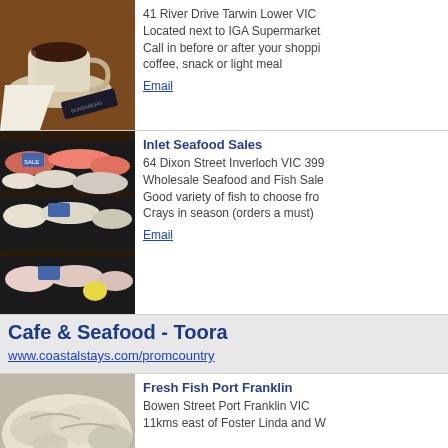[Figure (photo): A glass cup of coffee/espresso on a saucer with a sugar packet on a wooden table]
41 River Drive Tarwin Lower VIC
Located next to IGA Supermarket
Call in before or after your shopping for coffee, snack or light meal
Email
[Figure (photo): A display of fresh seafood including fish fillets and seafood cuts in black trays]
Inlet Seafood Sales
64 Dixon Street Inverloch VIC 399
Wholesale Seafood and Fish Sale
Good variety of fish to choose fro
Crays in season (orders a must)
Email
Cafe & Seafood - Toora
www.coastalstays.com/promcountry
[Figure (photo): Fresh raw fish and seafood on a plate]
Fresh Fish Port Franklin
Bowen Street Port Franklin VIC
11kms east of Foster Linda and W